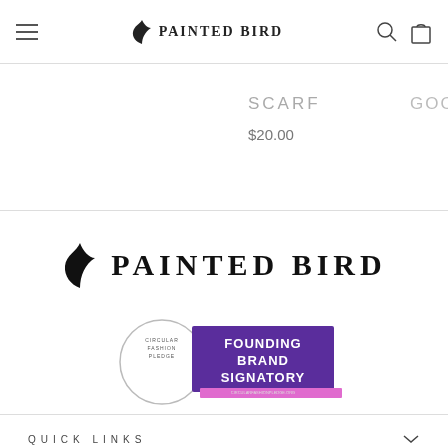PAINTED BIRD
SCARF
$20.00
[Figure (logo): Painted Bird brand logo with hummingbird icon and text PAINTED BIRD]
[Figure (illustration): Founding Brand Signatory badge with circular seal and purple rectangle]
QUICK LINKS
POLICIES